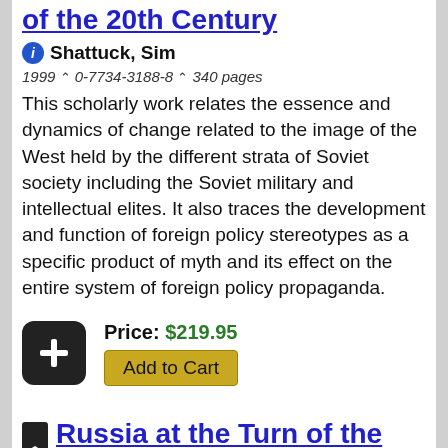of the 20th Century
Shattuck, Sim
1999 ^ 0-7734-3188-8 ^ 340 pages
This scholarly work relates the essence and dynamics of change related to the image of the West held by the different strata of Soviet society including the Soviet military and intellectual elites. It also traces the development and function of foreign policy stereotypes as a specific product of myth and its effect on the entire system of foreign policy propaganda.
Price: $219.95
Add to Cart
Russia at the Turn of the Century Impressions of a Dowager